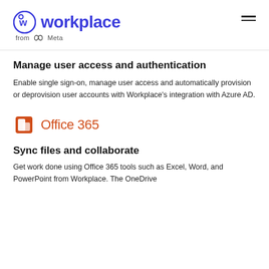workplace from Meta
Manage user access and authentication
Enable single sign-on, manage user access and automatically provision or deprovision user accounts with Workplace's integration with Azure AD.
[Figure (logo): Microsoft Office 365 logo with orange square icon and 'Office 365' text in orange]
Sync files and collaborate
Get work done using Office 365 tools such as Excel, Word, and PowerPoint from Workplace. The OneDrive